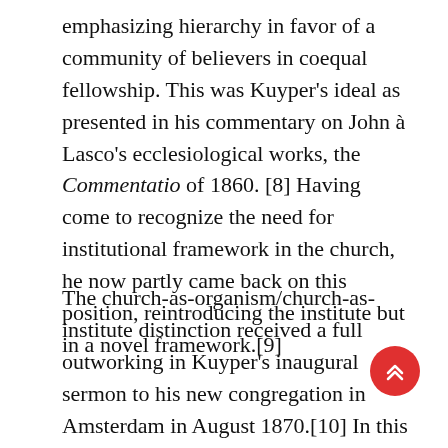emphasizing hierarchy in favor of a community of believers in coequal fellowship. This was Kuyper's ideal as presented in his commentary on John à Lasco's ecclesiological works, the Commentatio of 1860. [8] Having come to recognize the need for institutional framework in the church, he now partly came back on this position, reintroducing the institute but in a novel framework.[9]
The church-as-organism/church-as-institute distinction received a full outworking in Kuyper's inaugural sermon to his new congregation in Amsterdam in August 1870.[10] In this sermon he based the distinction on Ephesians 3: 17. The full passage (vv. 14-19),